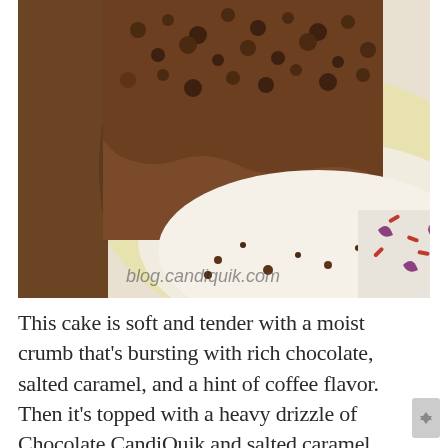[Figure (photo): Close-up photo of a slice of chocolate cake with crumbly chocolate topping on a white plate with colorful sprinkles. Watermark reads 'blog.candiquik.com'.]
This cake is soft and tender with a moist crumb that's bursting with rich chocolate, salted caramel, and a hint of coffee flavor. Then it's topped with a heavy drizzle of Chocolate CandiQuik and salted caramel sauce. Indulgent? Definitely. But it's fall, so let's celebrate! You and your boots deserve